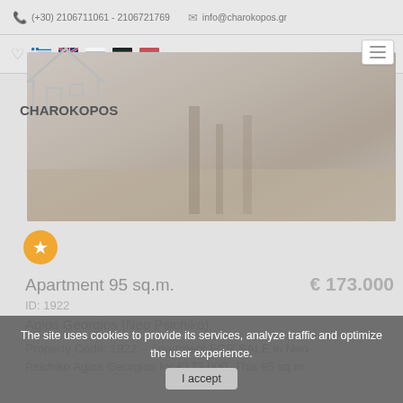(+30) 2106711061 - 2106721769   info@charokopos.gr
[Figure (logo): Charokopos Real Estate logo with house outline and company name]
[Figure (photo): Interior photo of apartment showing wooden floor and room]
Apartment 95 sq.m.
€ 173.000
ID: 1922
Agios Georgios (Neo Psichiko)
Property Code: 1922 – Apartment FOR SALE in Neo Psichiko Agios Georgios for €173.000. This 95 sq.m.
The site uses cookies to provide its services, analyze traffic and optimize the user experience.